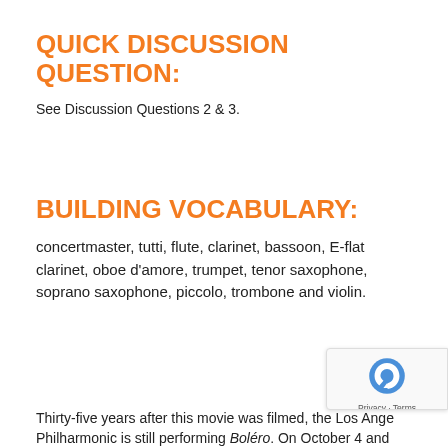QUICK DISCUSSION QUESTION:
See Discussion Questions 2 & 3.
BUILDING VOCABULARY:
concertmaster, tutti, flute, clarinet, bassoon, E-flat clarinet, oboe d'amore, trumpet, tenor saxophone, soprano saxophone, piccolo, trombone and violin.
Thirty-five years after this movie was filmed, the Los Angeles Philharmonic is still performing Boléro. On October 4 and... the author of this Learning Guide attended two, back-to-... performances of Boléro at the Walt Disney Concert Hall in Los